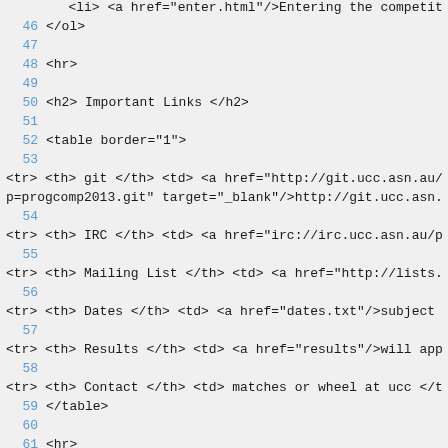<li> <a href="enter.html"/>Entering the competit
46 </ol>
47
48 <hr>
49
50 <h2> Important Links </h2>
51
52 <table border="1">
53
<tr> <th> git </th> <td> <a href="http://git.ucc.asn.au/p=progcomp2013.git" target="_blank"/>http://git.ucc.asn.
54
<tr> <th> IRC </th> <td> <a href="irc://irc.ucc.asn.au/p
55
<tr> <th> Mailing List </th> <td> <a href="http://lists.
56
<tr> <th> Dates </th> <td> <a href="dates.txt"/>subject
57
<tr> <th> Results </th> <td> <a href="results"/>will app
58
<tr> <th> Contact </th> <td> matches or wheel at ucc </t
59 </table>
60
61 <hr>